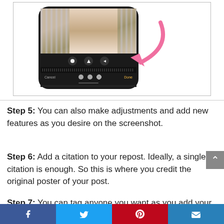[Figure (screenshot): A smartphone screen showing a photo editing interface with an image of a person, toolbar with round buttons, ruler/scrubber, Cancel and Done buttons at the bottom, and a pink curved arrow pointing left toward the interface on the right side.]
Step 5: You can also make adjustments and add new features as you desire on the screenshot.
Step 6: Add a citation to your repost. Ideally, a single citation is enough. So this is where you credit the original poster of your post.
Step 7: You can tag anyone you want as you add your
Facebook | Twitter | Pinterest | Email